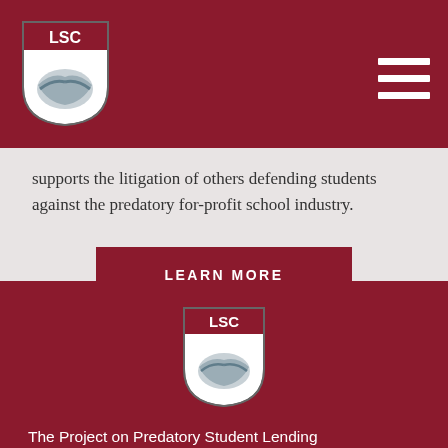[Figure (logo): LSC shield logo in top left of dark red header bar]
supports the litigation of others defending students against the predatory for-profit school industry.
LEARN MORE
[Figure (logo): LSC shield logo centered in dark red footer section]
The Project on Predatory Student Lending
The Project is part of the Legal Services Center of Harvard